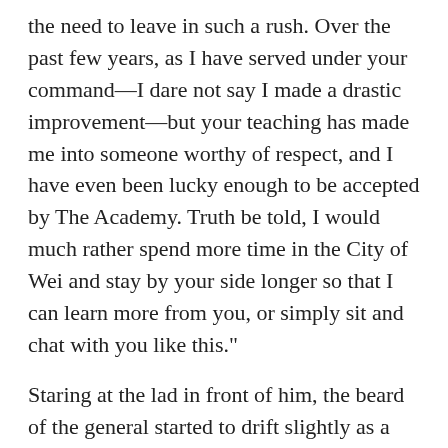the need to leave in such a rush. Over the past few years, as I have served under your command—I dare not say I made a drastic improvement—but your teaching has made me into someone worthy of respect, and I have even been lucky enough to be accepted by The Academy. Truth be told, I would much rather spend more time in the City of Wei and stay by your side longer so that I can learn more from you, or simply sit and chat with you like this."
Staring at the lad in front of him, the beard of the general started to drift slightly as a result of the night wind, or perhaps from pure frustration. Obviously annoyed, he sneered. "Ning Que you little brat, since when have you become so shameless?"
Pulling a serious face, Ning Que replied, "I can rid myself of this face anytime, as long as it can be of use to you, my general."
"Now tell me the truth," with a cold and serious